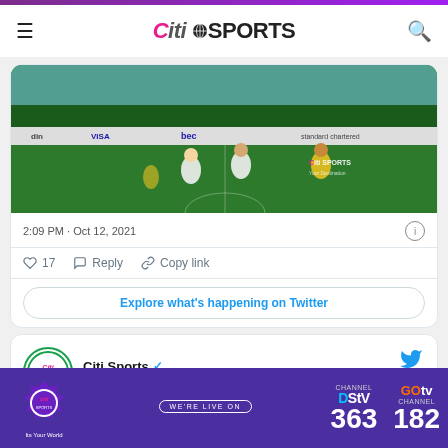Citi Sports
[Figure (photo): Football match photo showing players on a green pitch, some in white kits and one in yellow/green kit. Citi Sports watermark in top right. Stadium advertising boards visible including 'bec' and 'standard chartered' and 'din'.]
2:09 PM · Oct 12, 2021
17   Reply   Copy link
Explore what's happening on Twitter
Citi Sports @CitiSportsGHA · Follow